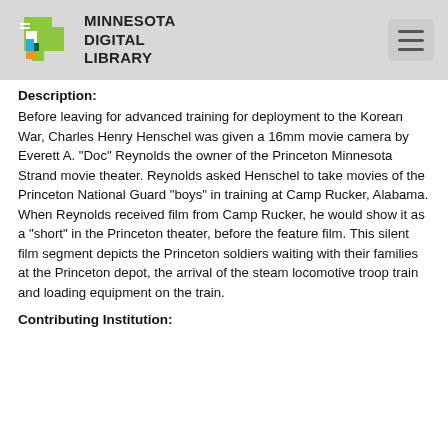Minnesota Digital Library
Description:
Before leaving for advanced training for deployment to the Korean War, Charles Henry Henschel was given a 16mm movie camera by Everett A. "Doc" Reynolds the owner of the Princeton Minnesota Strand movie theater. Reynolds asked Henschel to take movies of the Princeton National Guard "boys" in training at Camp Rucker, Alabama. When Reynolds received film from Camp Rucker, he would show it as a "short" in the Princeton theater, before the feature film. This silent film segment depicts the Princeton soldiers waiting with their families at the Princeton depot, the arrival of the steam locomotive troop train and loading equipment on the train.
Contributing Institution: